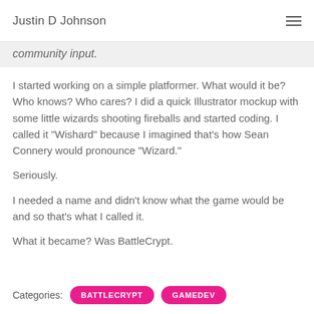Justin D Johnson
community input.
I started working on a simple platformer. What would it be? Who knows? Who cares? I did a quick Illustrator mockup with some little wizards shooting fireballs and started coding. I called it "Wishard" because I imagined that's how Sean Connery would pronounce "Wizard."
Seriously.
I needed a name and didn't know what the game would be and so that's what I called it.
What it became? Was BattleCrypt.
Categories: BATTLECRYPT GAMEDEV